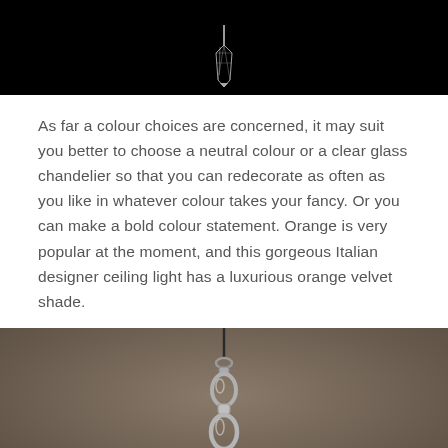[Figure (photo): Close-up photo of a crystal chandelier pendant against a black background, showing just the top portion of a clear glass crystal element.]
As far a colour choices are concerned, it may suit you better to choose a neutral colour or a clear glass chandelier so that you can redecorate as often as you like in whatever colour takes your fancy. Or you can make a bold colour statement. Orange is very popular at the moment, and this gorgeous Italian designer ceiling light has a luxurious orange velvet shade.
[Figure (photo): Close-up photo of a decorative metal chain or link connector for a chandelier, shown against a warm taupe/brown blurred background. The chain links are silver/chrome colored.]